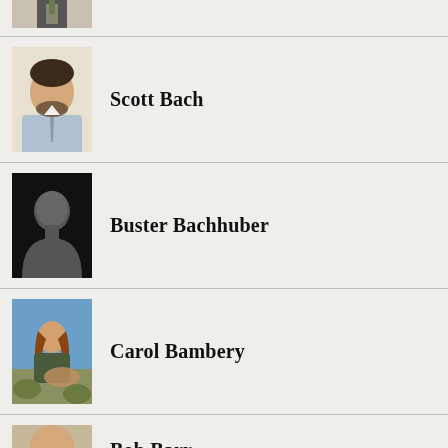[Figure (photo): Partial photo of a person in a suit with a tie, cropped at top]
[Figure (photo): Photo of Scott Bach, a man with dark hair and beard wearing a shirt and tie]
Scott Bach
[Figure (photo): Silhouette placeholder image of a person on black background]
Buster Bachhuber
[Figure (photo): Photo of Carol Bambery outdoors holding a deer]
Carol Bambery
[Figure (photo): Photo of Bob Barr, a bald man with glasses]
Bob Barr